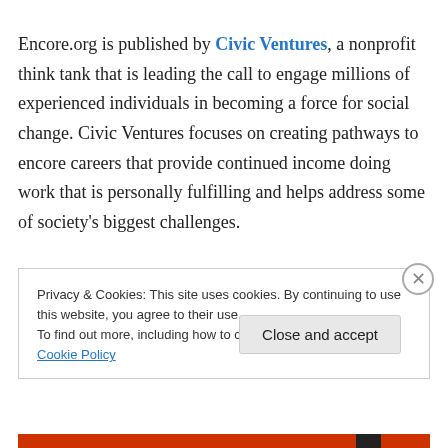Encore.org is published by Civic Ventures, a nonprofit think tank that is leading the call to engage millions of experienced individuals in becoming a force for social change. Civic Ventures focuses on creating pathways to encore careers that provide continued income doing work that is personally fulfilling and helps address some of society's biggest challenges.
Privacy & Cookies: This site uses cookies. By continuing to use this website, you agree to their use. To find out more, including how to control cookies, see here: Cookie Policy